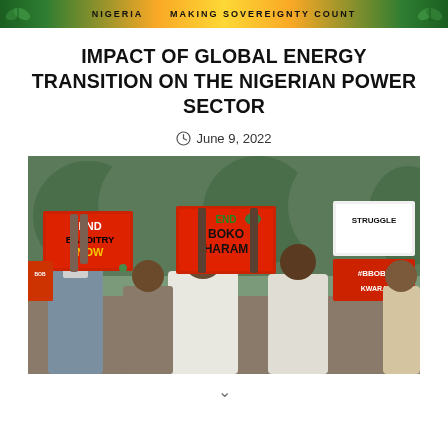NIGERIA   Making Sovereignty Count
IMPACT OF GLOBAL ENERGY TRANSITION ON THE NIGERIAN POWER SECTOR
June 9, 2022
[Figure (photo): Protesters holding signs reading 'END BANDITRY NOW' and 'END BOKO HARAM' and 'STRUGGLE' and '#BBOB#', with people dressed in white and grey traditional attire in an outdoor setting.]